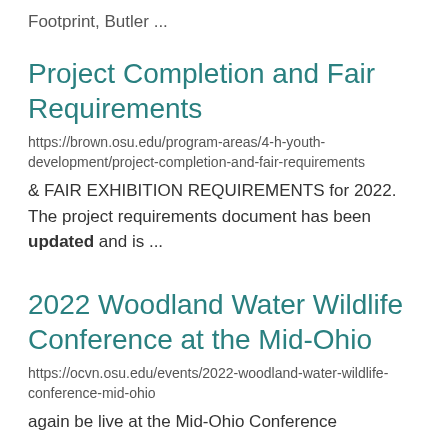Footprint, Butler ...
Project Completion and Fair Requirements
https://brown.osu.edu/program-areas/4-h-youth-development/project-completion-and-fair-requirements
& FAIR EXHIBITION REQUIREMENTS for 2022. The project requirements document has been updated and is ...
2022 Woodland Water Wildlife Conference at the Mid-Ohio
https://ocvn.osu.edu/events/2022-woodland-water-wildlife-conference-mid-ohio
again be live at the Mid-Ohio Conference